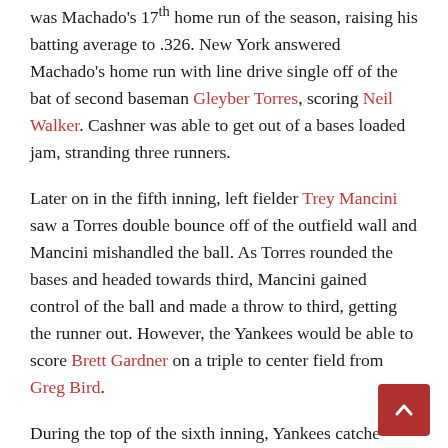was Machado's 17th home run of the season, raising his batting average to .326. New York answered Machado's home run with line drive single off of the bat of second baseman Gleyber Torres, scoring Neil Walker. Cashner was able to get out of a bases loaded jam, stranding three runners.
Later on in the fifth inning, left fielder Trey Mancini saw a Torres double bounce off of the outfield wall and Mancini mishandled the ball. As Torres rounded the bases and headed towards third, Mancini gained control of the ball and made a throw to third, getting the runner out. However, the Yankees would be able to score Brett Gardner on a triple to center field from Greg Bird.
During the top of the sixth inning, Yankees catcher Austin Romine reached first base on a hard-hit line